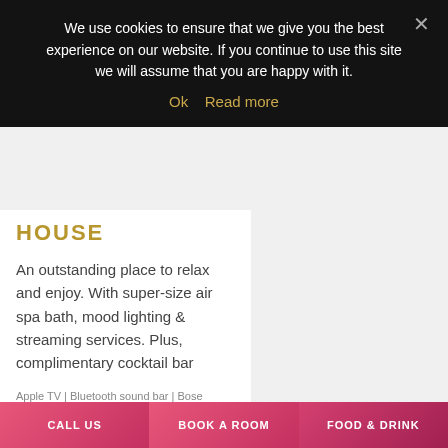We use cookies to ensure that we give you the best experience on our website. If you continue to use this site we will assume that you are happy with it.
Ok   Read more
HOUSE
An outstanding place to relax and enjoy. With super-size air spa bath, mood lighting & streaming services. Plus, complimentary cocktail bar
Apple TV | Bluetooth sound bar | Bose bluetooth speaker | Branded bath robes & luxury towels | Complimentary cocktail bar | Complimentary Nespresso machine | use of homemakes toiletries
CALL US   BOOK A ROOM   FOOD & DRINK